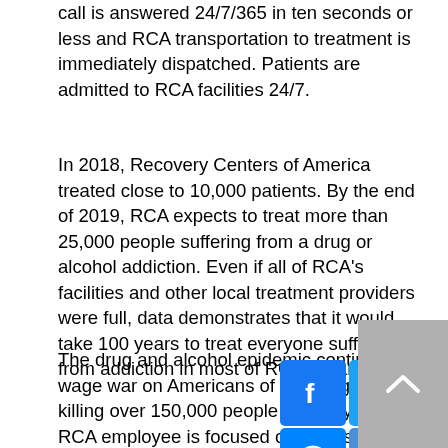call is answered 24/7/365 in ten seconds or less and RCA transportation to treatment is immediately dispatched. Patients are admitted to RCA facilities 24/7.
In 2018, Recovery Centers of America treated close to 10,000 patients. By the end of 2019, RCA expects to treat more than 25,000 people suffering from a drug or alcohol addiction. Even if all of RCA's facilities and other local treatment providers were full, data demonstrates that it would take 100 years to treat everyone suffering from addiction in most of RCA's markets.
The drug and alcohol epidemic continues to wage war on Americans of all age groups, killing over 150,000 people annually. Every RCA employee is focused on its mission to treat one million people, one neighborhood at a time.
[Figure (infographic): Social media sharing buttons: Facebook, Twitter, Email, LinkedIn, WhatsApp (top row); Messenger, Share (bottom row). Also a grey back-to-top button with an upward chevron.]